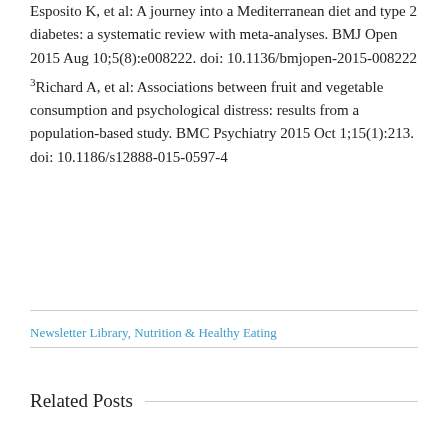Esposito K, et al: A journey into a Mediterranean diet and type 2 diabetes: a systematic review with meta-analyses. BMJ Open 2015 Aug 10;5(8):e008222. doi: 10.1136/bmjopen-2015-008222
3Richard A, et al: Associations between fruit and vegetable consumption and psychological distress: results from a population-based study. BMC Psychiatry 2015 Oct 1;15(1):213. doi: 10.1186/s12888-015-0597-4
Newsletter Library, Nutrition & Healthy Eating
Related Posts